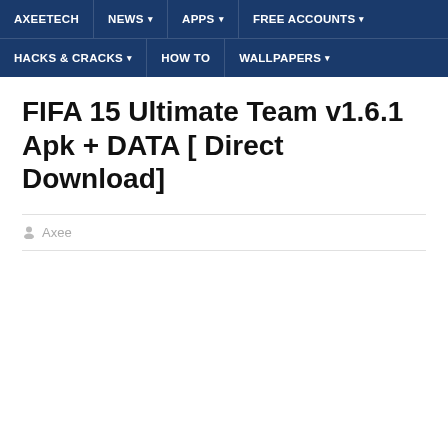AXEETECH | NEWS | APPS | FREE ACCOUNTS | HACKS & CRACKS | HOW TO | WALLPAPERS
FIFA 15 Ultimate Team v1.6.1 Apk + DATA [ Direct Download]
Axee